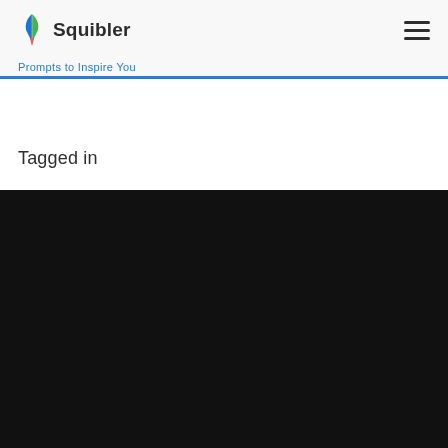Squibler
Prompts to Inspire You
Tagged in